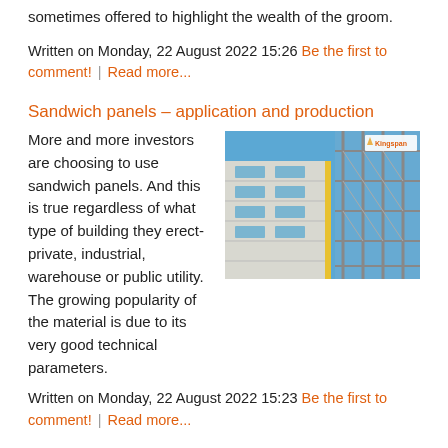sometimes offered to highlight the wealth of the groom.
Written on Monday, 22 August 2022 15:26 Be the first to comment! | Read more...
Sandwich panels – application and production
More and more investors are choosing to use sandwich panels. And this is true regardless of what type of building they erect- private, industrial, warehouse or public utility. The growing popularity of the material is due to its very good technical parameters.
[Figure (photo): Construction site with sandwich panel building facade and scaffolding, Kingspan logo visible in top-right corner]
Written on Monday, 22 August 2022 15:23 Be the first to comment! | Read more...